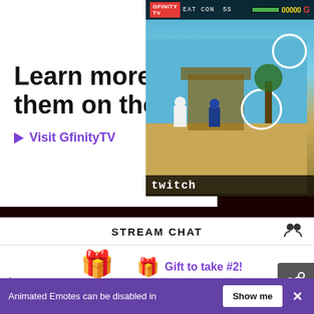[Figure (screenshot): GfinityTV website banner showing 'Learn more a... them on thei...' text with 'Visit GfinityTV' link and a Mortal Kombat style video game screenshot on the right showing two fighters with health bars]
STREAM CHAT
[Figure (screenshot): Stream chat gift display showing user 'enderoofer' with gold gift icon and count 1, and 'Gift to take #2!' label with teal gift icons and '...' text]
Welcome to the chat room!
Animated Emotes can be disabled in
Show me
[Figure (screenshot): Banana Republic advertisement showing 'Apply, Shop & Save Today' with BR logo and 'APPLY NOW' text, featuring a photo of people in western attire]